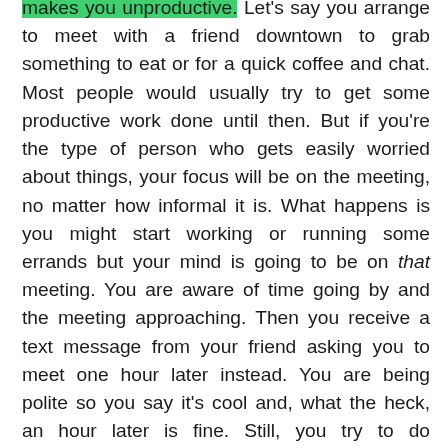makes you unproductive. Let's say you arrange to meet with a friend downtown to grab something to eat or for a quick coffee and chat. Most people would usually try to get some productive work done until then. But if you're the type of person who gets easily worried about things, your focus will be on the meeting, no matter how informal it is. What happens is you might start working or running some errands but your mind is going to be on that meeting. You are aware of time going by and the meeting approaching. Then you receive a text message from your friend asking you to meet one hour later instead. You are being polite so you say it's cool and, what the heck, an hour later is fine. Still, you try to do something with your free time but you can't focus 100%. And things get really bad when you receive a new text cancelling the meeting with some lame excuse. Then you start to get really upset. Not only have you wasted so much time when you could have been working or doing something you had planned to, but you also miss your chance to get out. Had you known in